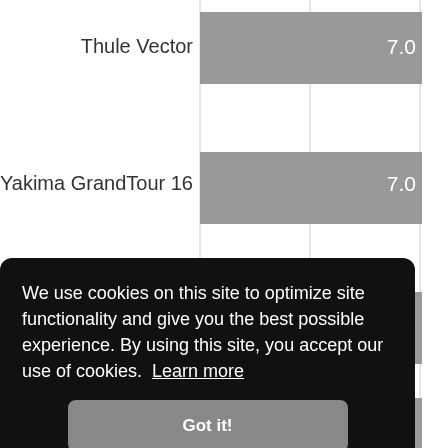[Figure (bar-chart): Cargo Carrier Ratings]
We use cookies on this site to optimize site functionality and give you the best possible experience. By using this site, you accept our use of cookies. Learn more